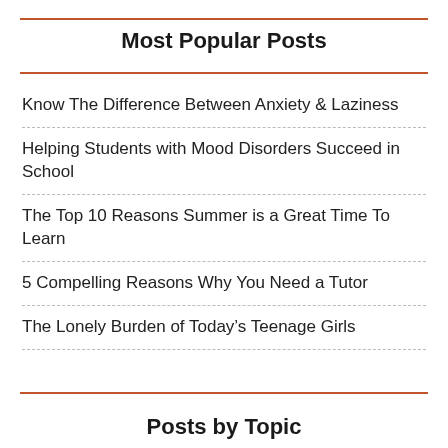Most Popular Posts
Know The Difference Between Anxiety & Laziness
Helping Students with Mood Disorders Succeed in School
The Top 10 Reasons Summer is a Great Time To Learn
5 Compelling Reasons Why You Need a Tutor
The Lonely Burden of Today's Teenage Girls
Posts by Topic